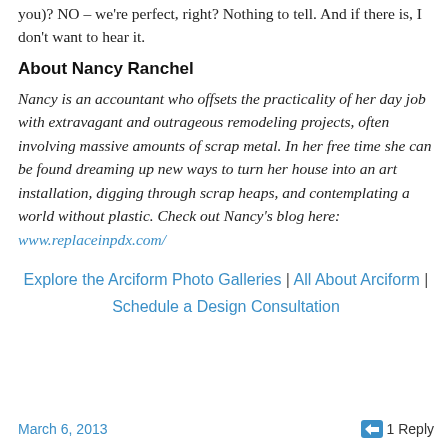you)? NO – we're perfect, right? Nothing to tell. And if there is, I don't want to hear it.
About Nancy Ranchel
Nancy is an accountant who offsets the practicality of her day job with extravagant and outrageous remodeling projects, often involving massive amounts of scrap metal. In her free time she can be found dreaming up new ways to turn her house into an art installation, digging through scrap heaps, and contemplating a world without plastic. Check out Nancy's blog here: www.replaceinpdx.com/
Explore the Arciform Photo Galleries | All About Arciform | Schedule a Design Consultation
March 6, 2013   1 Reply